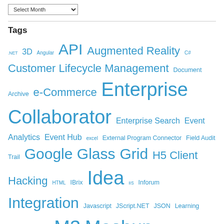Select Month (dropdown)
Tags
.NET 3D Angular API Augmented Reality C# Customer Lifecycle Management Document Archive e-Commerce Enterprise Collaborator Enterprise Search Event Analytics Event Hub excel External Program Connector Field Audit Trail Google Glass Grid H5 Client Hacking HTML IBrix Idea IIS Inforum Integration Javascript JScript.NET JSON Learning LifeCycle Manager M3 Mashup Metadata Publisher MForms automation Mobile & Telephony mom Monitor mos Movex Output Process Automation ProcessFlow REST Script SDK